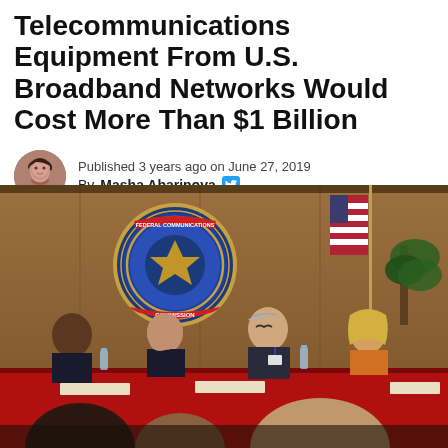Telecommunications Equipment From U.S. Broadband Networks Would Cost More Than $1 Billion
Published 3 years ago on June 27, 2019
By Masha Abarinova
[Figure (photo): Panel discussion at FCC hearing room with FCC seal on wall, US flag, and four panelists seated at a red-draped table]